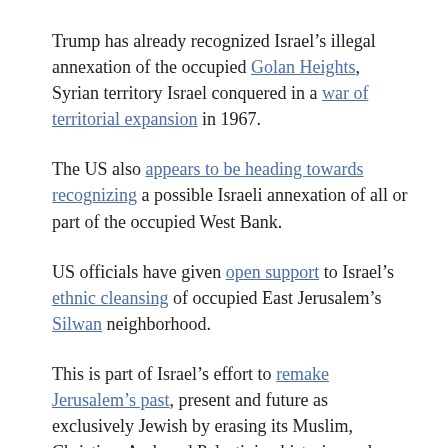Trump has already recognized Israel’s illegal annexation of the occupied Golan Heights, Syrian territory Israel conquered in a war of territorial expansion in 1967.
The US also appears to be heading towards recognizing a possible Israeli annexation of all or part of the occupied West Bank.
US officials have given open support to Israel’s ethnic cleansing of occupied East Jerusalem’s Silwan neighborhood.
This is part of Israel’s effort to remake Jerusalem’s past, present and future as exclusively Jewish by erasing its Muslim, Christian, Arab and Palestinian histories and character.
Israel’s destruction of Palestinian homes in the city is escalating sharply.